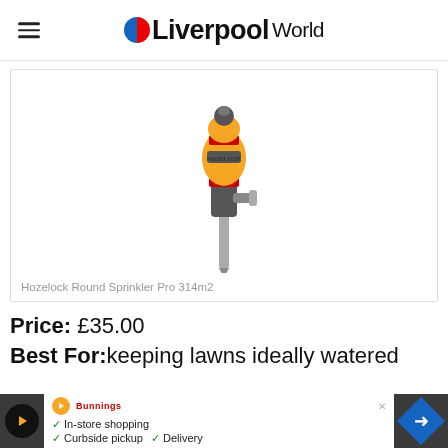Liverpool World
[Figure (photo): Hozelock Round Sprinkler Pro 314m2 product image — yellow and grey sprinkler with red band and spike stake]
Hozelock Round Sprinkler Pro 314m2
Price: £35.00
Best For: keeping lawns ideally watered